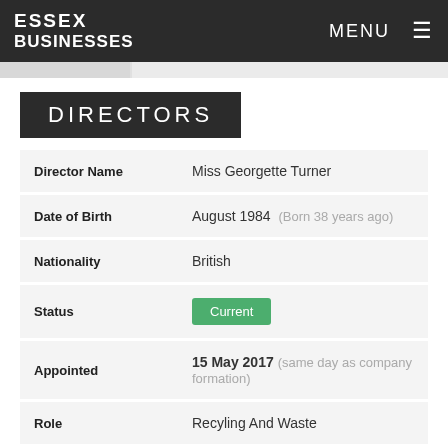ESSEX BUSINESSES  MENU
DIRECTORS
| Field | Value |
| --- | --- |
| Director Name | Miss Georgette Turner |
| Date of Birth | August 1984  (Born 38 years ago) |
| Nationality | British |
| Status | Current |
| Appointed | 15 May 2017 (same day as company formation) |
| Role | Recyling And Waste |